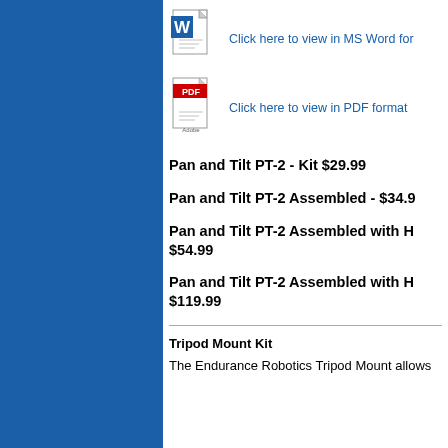[Figure (illustration): MS Word document icon]
Click here to view in MS Word for
[Figure (illustration): PDF document icon (Adobe red)]
Click here to view in PDF format
Pan and Tilt PT-2 - Kit $29.99
Pan and Tilt PT-2 Assembled - $34.9
Pan and Tilt PT-2 Assembled with H $54.99
Pan and Tilt PT-2 Assembled with H $119.99
Tripod Mount Kit
The Endurance Robotics Tripod Mount allows